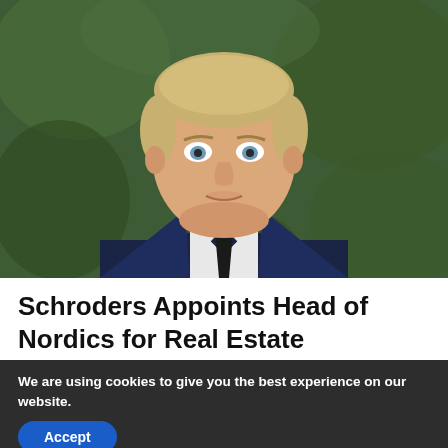[Figure (photo): Professional headshot of a man in a dark navy suit with a black tie and white shirt, short blond hair, light eyes, against a blurred green outdoor background.]
Schroders Appoints Head of Nordics for Real Estate
We are using cookies to give you the best experience on our website.